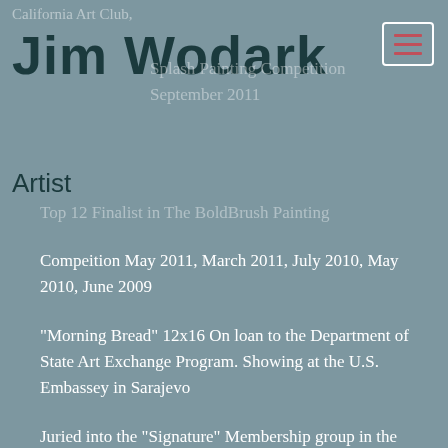California Art Club,
Jim Wodark
Splash Painting Competition
September 2011
Artist
Top 12 Finalist in The BoldBrush Painting Competition May 2011, March 2011, July 2010, May 2010, June 2009
Top 12 Finalist in The BoldBrush Painting Compeition May 2011, March 2011, July 2010, May 2010, June 2009
"Morning Bread" 12x16 On loan to the Department of State Art Exchange Program. Showing at the U.S. Embassey in Sarajevo
Juried into the "Signature" Membership group in the Laguna Plein Air Painters Association 8/2009
2nd Place at the National Yearlong Raymar Painting Competition 2008-2009